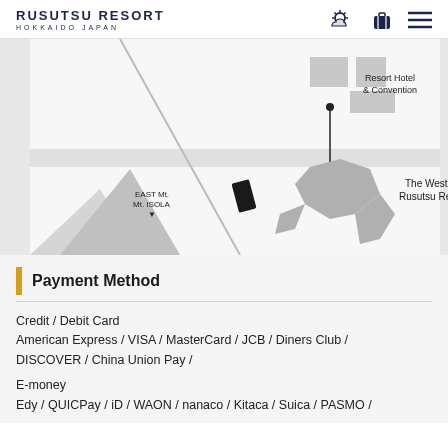RUSUTSU RESORT HOKKAIDO JAPAN
[Figure (map): Resort map showing EAST Mt., Mt. ISOLA, The Westin Rusutsu Resort, and Resort Hotel & Convention buildings with connecting paths.]
Payment Method
Credit / Debit Card
American Express / VISA / MasterCard / JCB / Diners Club / DISCOVER / China Union Pay /
E-money
Edy / QUICPay / iD / WAON / nanaco / Kitaca / Suica / PASMO /